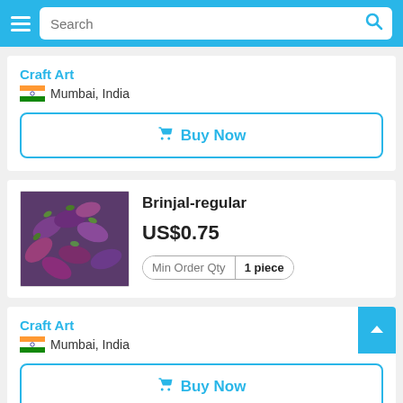Search bar with hamburger menu
Craft Art
Mumbai, India
Buy Now
[Figure (photo): Close-up photo of purple/violet Indian brinjal (eggplant) vegetables]
Brinjal-regular
US$0.75
Min Order Qty  1 piece
Craft Art
Mumbai, India
Buy Now